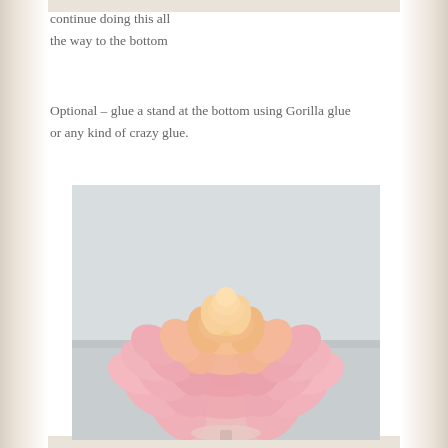continue doing this all the way to the bottom
Optional – glue a stand at the bottom using Gorilla glue or any kind of crazy glue.
[Figure (photo): A decorative flower made from pink and peach plastic spoons arranged in overlapping layers, creating a bloom shape, resting on a surface. The flower transitions from pale pink at the base to peach/orange at the top center.]